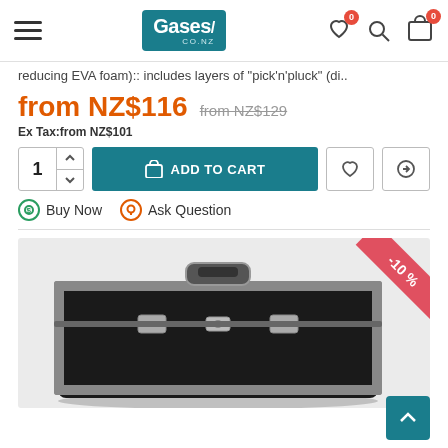Cases CO.NZ — navigation header with hamburger menu, logo, wishlist (0), search, and cart (0) icons
reducing EVA foam):: includes layers of "pick'n'pluck" (di..
from NZ$116 from NZ$129
Ex Tax:from NZ$101
1 ADD TO CART | Buy Now | Ask Question
[Figure (photo): Black aluminum briefcase with silver latches and handle, shown on a light grey background. A red diagonal discount banner with '-10 %' text is in the top right corner.]